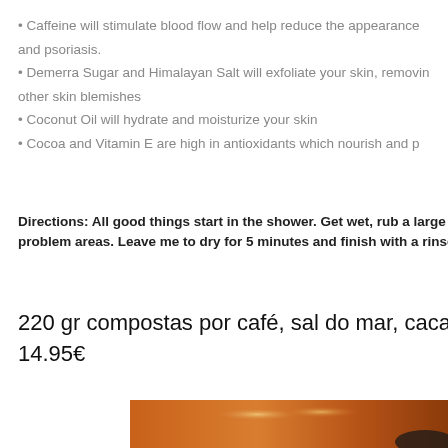• Caffeine will stimulate blood flow and help reduce the appearance and psoriasis.
• Demerra Sugar and Himalayan Salt will exfoliate your skin, removing other skin blemishes
• Coconut Oil will hydrate and moisturize your skin
• Cocoa and Vitamin E are high in antioxidants which nourish and p…
Directions: All good things start in the shower. Get wet, rub a large h… problem areas. Leave me to dry for 5 minutes and finish with a rinse…
220 gr compostas por café, sal do mar, cacau orgânico, ol… 14.95€
[Figure (photo): A blurred warm orange/brown background photo with a dark object visible at lower right, resembling a shower or wooden interior setting.]